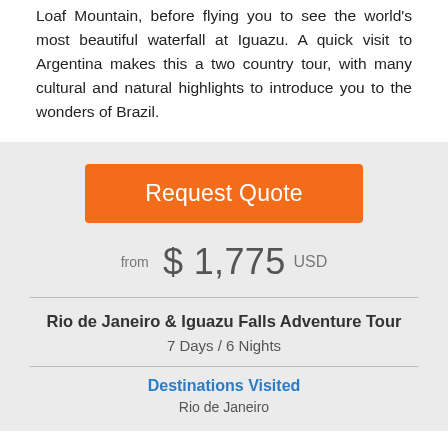Loaf Mountain, before flying you to see the world's most beautiful waterfall at Iguazu. A quick visit to Argentina makes this a two country tour, with many cultural and natural highlights to introduce you to the wonders of Brazil.
Request Quote
from $ 1,775 USD
Rio de Janeiro & Iguazu Falls Adventure Tour
7 Days / 6 Nights
Destinations Visited
Rio de Janeiro